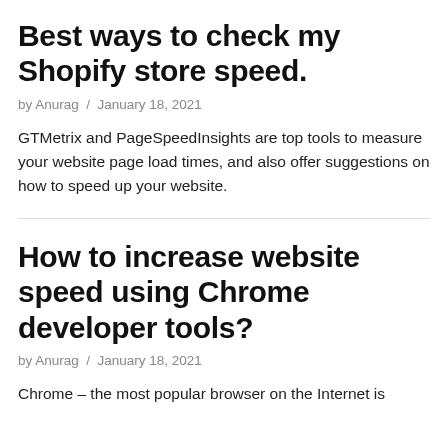Best ways to check my Shopify store speed.
by Anurag / January 18, 2021
GTMetrix and PageSpeedInsights are top tools to measure your website page load times, and also offer suggestions on how to speed up your website.
How to increase website speed using Chrome developer tools?
by Anurag / January 18, 2021
Chrome – the most popular browser on the Internet is